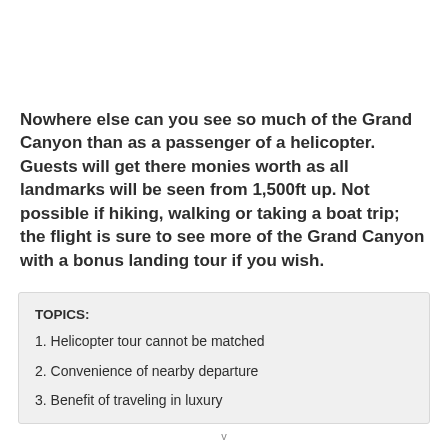Nowhere else can you see so much of the Grand Canyon than as a passenger of a helicopter. Guests will get there monies worth as all landmarks will be seen from 1,500ft up. Not possible if hiking, walking or taking a boat trip; the flight is sure to see more of the Grand Canyon with a bonus landing tour if you wish.
TOPICS:
1. Helicopter tour cannot be matched
2. Convenience of nearby departure
3. Benefit of traveling in luxury